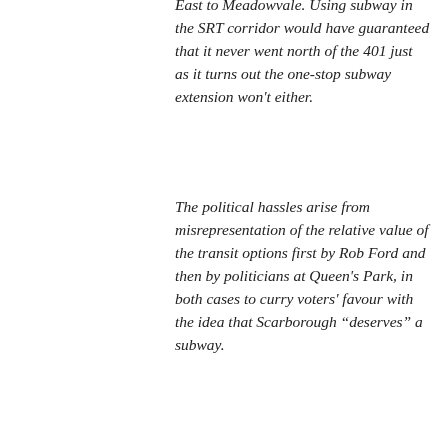East to Meadowvale. Using subway in the SRT corridor would have guaranteed that it never went north of the 401 just as it turns out the one-stop subway extension won't either.
The political hassles arise from misrepresentation of the relative value of the transit options first by Rob Ford and then by politicians at Queen's Park, in both cases to curry voters' favour with the idea that Scarborough “deserves” a subway.
Like
Greg Gormick on August 26, 2017 at 11:24 am
Susan’s comment about this pointless